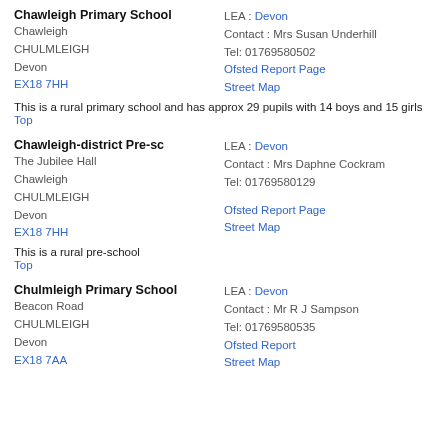Chawleigh Primary School
Chawleigh
CHULMLEIGH
Devon
EX18 7HH
LEA : Devon
Contact : Mrs Susan Underhill
Tel: 01769580502
Ofsted Report Page
Street Map
This is a rural primary school and has approx 29 pupils with 14 boys and 15 girls
Top
Chawleigh-district Pre-sc
The Jubilee Hall
Chawleigh
CHULMLEIGH
Devon
EX18 7HH
LEA : Devon
Contact : Mrs Daphne Cockram
Tel: 01769580129
Ofsted Report Page
Street Map
This is a rural pre-school
Top
Chulmleigh Primary School
Beacon Road
CHULMLEIGH
Devon
EX18 7AA
LEA : Devon
Contact : Mr R J Sampson
Tel: 01769580535
Ofsted Report
Street Map